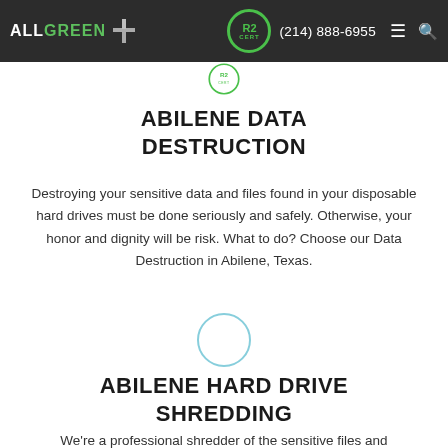ALL GREEN | R2 | (214) 888-6955
ABILENE DATA DESTRUCTION
Destroying your sensitive data and files found in your disposable hard drives must be done seriously and safely. Otherwise, your honor and dignity will be risk. What to do? Choose our Data Destruction in Abilene, Texas.
[Figure (illustration): A circular badge outline with a teal/blue border, empty interior, serving as a section divider.]
ABILENE HARD DRIVE SHREDDING
We're a professional shredder of the sensitive files and